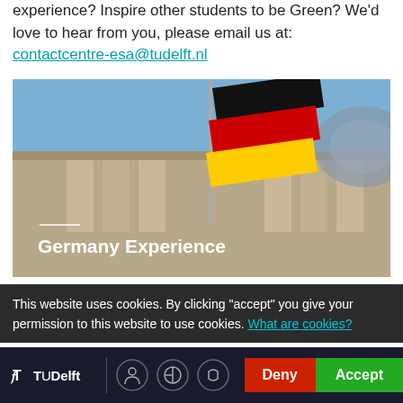experience? Inspire other students to be Green? We'd love to hear from you, please email us at: contactcentre-esa@tudelft.nl
[Figure (photo): Photo of the German Reichstag building with the German flag (black, red, gold) flying prominently in the foreground against a blue sky. Overlay text reads 'Germany Experience'.]
This website uses cookies. By clicking "accept" you give your permission to this website to use cookies. What are cookies?